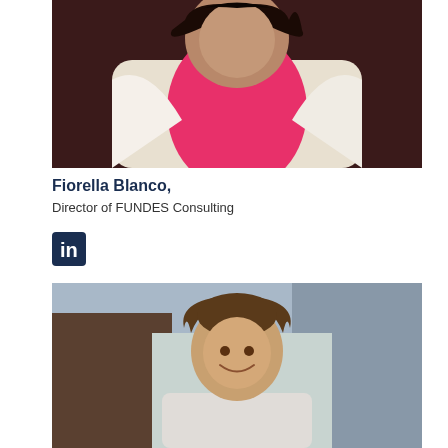[Figure (photo): Professional headshot of Fiorella Blanco, a woman with dark hair wearing a pink top and white blazer, photographed against a dark background]
Fiorella Blanco,
Director of FUNDES Consulting
[Figure (logo): LinkedIn logo icon — blue square with white 'in' text]
[Figure (photo): Professional headshot of a smiling young man with brown hair wearing a light-colored shirt, photographed outdoors]